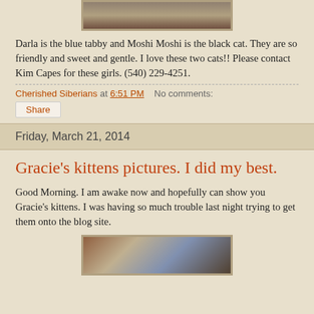[Figure (photo): Partial view of two cats - top portion visible, cropped at top of page]
Darla is the blue tabby and Moshi Moshi is the black cat. They are so friendly and sweet and gentle. I love these two cats!! Please contact Kim Capes for these girls. (540) 229-4251.
Cherished Siberians at 6:51 PM   No comments:
Share
Friday, March 21, 2014
Gracie's kittens pictures. I did my best.
Good Morning.   I am awake now and hopefully can show you Gracie's kittens.  I was having so much trouble last night trying to get them onto the blog site.
[Figure (photo): Partial view of kittens photo - bottom portion visible, cropped at bottom of page]